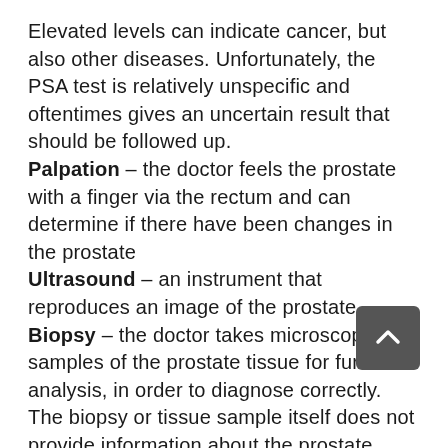Elevated levels can indicate cancer, but also other diseases. Unfortunately, the PSA test is relatively unspecific and oftentimes gives an uncertain result that should be followed up.
Palpation – the doctor feels the prostate with a finger via the rectum and can determine if there have been changes in the prostate
Ultrasound – an instrument that reproduces an image of the prostate.
Biopsy – the doctor takes microscopic samples of the prostate tissue for further analysis, in order to diagnose correctly. The biopsy or tissue sample itself does not provide information about the prostate cancer prognosis, that is, whether it is